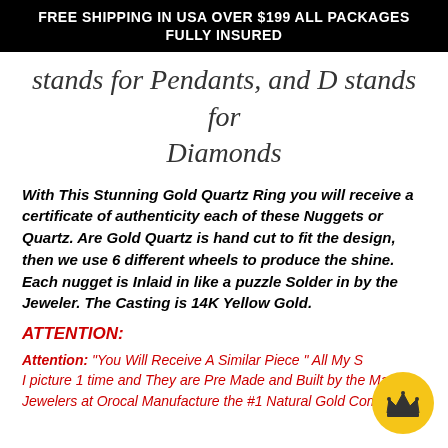FREE SHIPPING IN USA OVER $199 ALL PACKAGES FULLY INSURED
stands for Pendants, and D stands for Diamonds
With This Stunning Gold Quartz Ring you will receive a certificate of authenticity each of these Nuggets or Quartz. Are Gold Quartz is hand cut to fit the design, then we use 6 different wheels to produce the shine. Each nugget is Inlaid in like a puzzle Solder in by the Jeweler. The Casting is 14K Yellow Gold.
ATTENTION:
Attention: "You Will Receive A Similar Piece " All My S... I picture 1 time and They are Pre Made and Built by the Master Jewelers at Orocal Manufacture the #1 Natural Gold Company